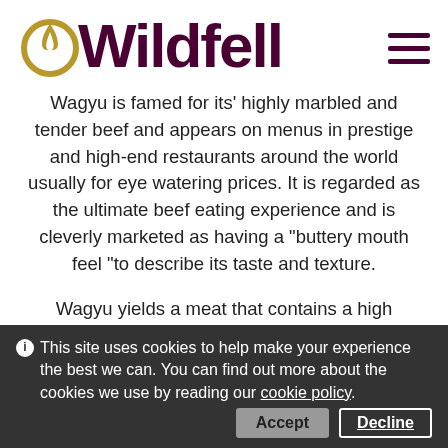[Figure (logo): Wildfell logo with stylized flame/circle icon in gold and dark purple text]
Wagyu is famed for its' highly marbled and tender beef and appears on menus in prestige and high-end restaurants around the world usually for eye watering prices. It is regarded as the ultimate beef eating experience and is cleverly marketed as having a "buttery mouth feel "to describe its taste and texture.
Wagyu yields a meat that contains a high percentage of omega-3 and omega-6 fatty acids. This is due to its' increased marbling which also improves the ratio of monounsaturated fats to saturated fats making it a healthier eating product compared to other red meat.
Crossing Wagyu with Aberdeen Angus produces fantastic beef in terms of flavour and tenderness, getting the best of both breeds literally to the table. We are producing
This site uses cookies to help make your experience the best we can. You can find out more about the cookies we use by reading our cookie policy.